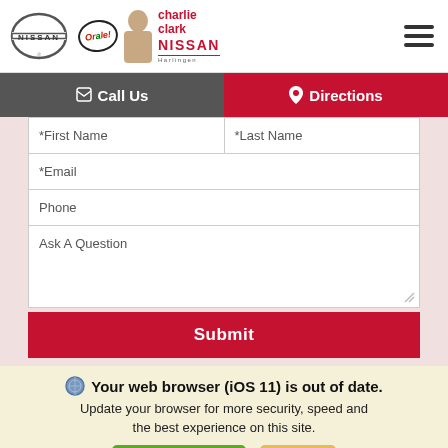[Figure (logo): Nissan logo and Charlie Clark Nissan Harlingen dealer logo with Orale! speech bubble and man photo]
[Figure (other): Hamburger menu icon (three horizontal lines)]
Call Us
Directions
*First Name
*Last Name
*Email
Phone
Ask A Question
Submit
Your web browser (iOS 11) is out of date.
Update your browser for more security, speed and the best experience on this site.
Update browser
Ignore